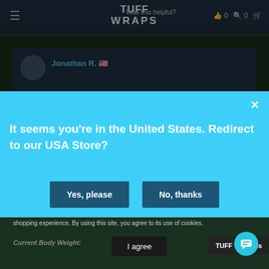TUFF WRAPS
Jonathan R. 🇺🇸
Was this helpful? 👍 0
It seems you're in the United States. Redirect to our USA Store?
Yes, please
No, thanks
shopping experience. By using this site, you agree to its use of cookies.
Current Body Weight:
I agree
TUFF Rewards